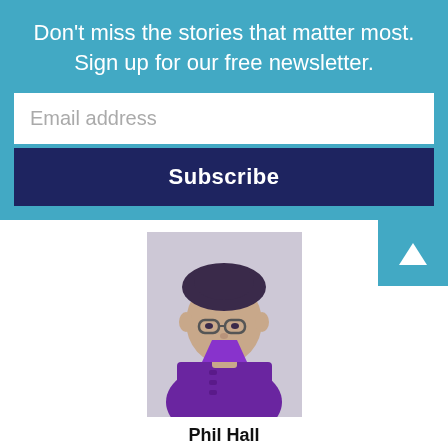Don't miss the stories that matter most. Sign up for our free newsletter.
Email address
Subscribe
[Figure (illustration): Author photo of Phil Hall rendered in purple duotone style against a gray background]
Phil Hall
https://westfaironline.com/
Phil Hall's writing for Westfair Communications has earned multiple awards from the Connecticut Press Club and the Connecticut Society of Professional Journalists. He is a former United Nations-based reporter for Fairchild Broadcast News and the author of 11 books (including the upcoming "100 Years of Wall Street Crooks," published by Bicep Books). He is also the host of the SoundCloud podcast "The Online Movie Show," host of the WAPJ-FM talk show